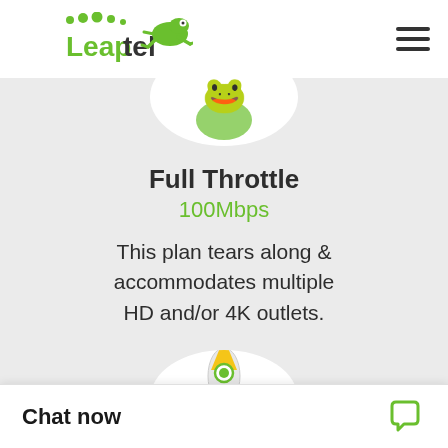[Figure (logo): Leaptel logo with green frog jumping over the text Leaptel]
[Figure (illustration): Partially visible white circle (cropped), top of page content area]
Full Throttle
100Mbps
This plan tears along & accommodates multiple HD and/or 4K outlets.
[Figure (illustration): White circle with rocket ship illustration, partially visible at bottom]
Chat now